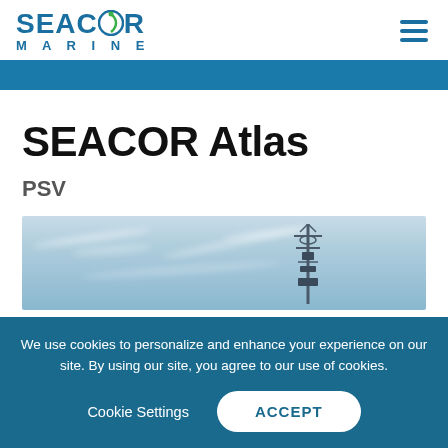[Figure (logo): SEACOR Marine logo with circular green/blue emblem between SEAC and OR text, MARINE below in spaced letters]
SEACOR Atlas
PSV
[Figure (photo): Partial sky photo with ship communication mast visible on right side]
We use cookies to personalize and enhance your experience on our site. By using our site, you agree to our use of cookies.
Cookie Settings
ACCEPT